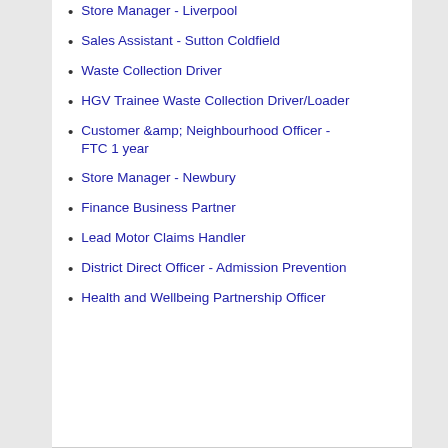Store Manager - Liverpool
Sales Assistant - Sutton Coldfield
Waste Collection Driver
HGV Trainee Waste Collection Driver/Loader
Customer &amp; Neighbourhood Officer - FTC 1 year
Store Manager - Newbury
Finance Business Partner
Lead Motor Claims Handler
District Direct Officer - Admission Prevention
Health and Wellbeing Partnership Officer